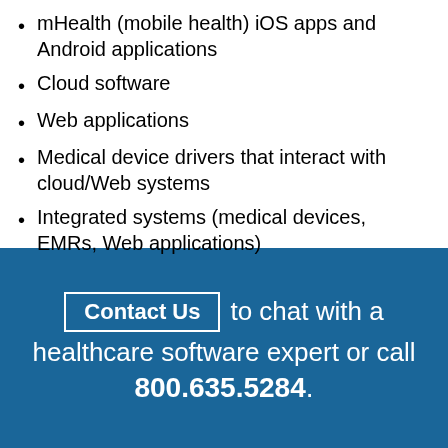mHealth (mobile health) iOS apps and Android applications
Cloud software
Web applications
Medical device drivers that interact with cloud/Web systems
Integrated systems (medical devices, EMRs, Web applications)
Contact Us to chat with a healthcare software expert or call 800.635.5284.